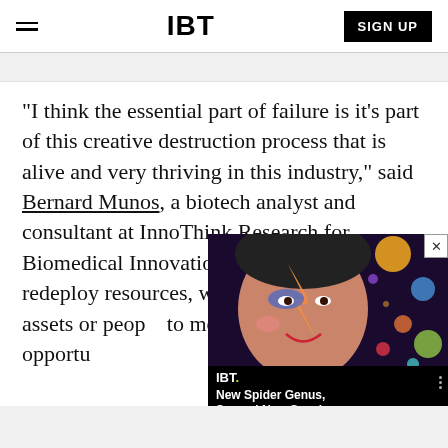IBT — SIGN UP
“I think the essential part of failure is it’s part of this creative destruction process that is alive and very thriving in this industry,” said Bernard Munos, a biotech analyst and consultant at InnoThink Research for Biomedical Innovation. “It basically helps redeploy resources, w[hether those] resources or assets or peop[le] to more promising opportu[nities]”
[Figure (screenshot): IBT video overlay widget showing a thumbnail of a face with colorful face paint and planets in background, with caption 'New Spider Genus, Several New Species...' and a close button in top-right corner]